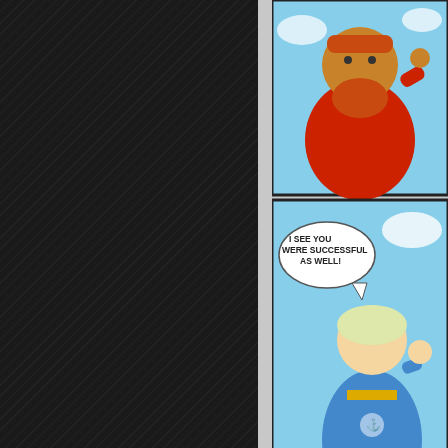[Figure (illustration): Comic strip panels showing fantasy characters. Top panel: bearded man in red outfit gesturing. Middle panel: female character in blue and gold outfit saying 'I SEE YOU WERE SUCCESSFUL AS WELL!'. Bottom panel: elderly captain character with speech bubble 'WELCOME ABOARD THE MAD MEPHIT!']
The ship has sailed. Otto is mad. The duds. The captain has a name, it's m...
↓ Read the rest of this entry…
Share this: